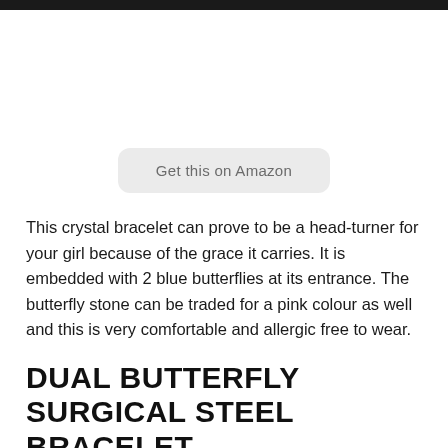Get this on Amazon
This crystal bracelet can prove to be a head-turner for your girl because of the grace it carries. It is embedded with 2 blue butterflies at its entrance. The butterfly stone can be traded for a pink colour as well and this is very comfortable and allergic free to wear.
DUAL BUTTERFLY SURGICAL STEEL BRACELET